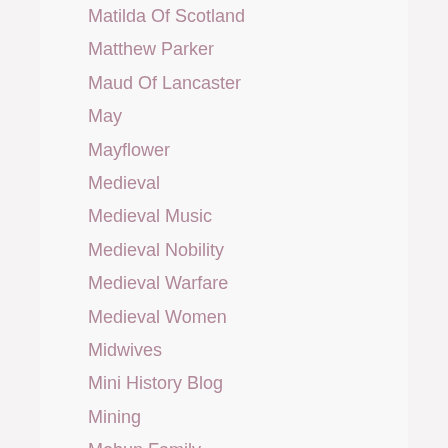Matilda Of Scotland
Matthew Parker
Maud Of Lancaster
May
Mayflower
Medieval
Medieval Music
Medieval Nobility
Medieval Warfare
Medieval Women
Midwives
Mini History Blog
Mining
Mohun Family
Mohun Family Of Dunster
Monarchy
Monmouth Rebellion
Muntiny On The Bounty
Music Hall